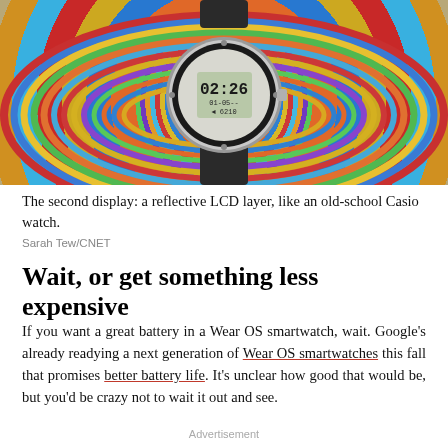[Figure (photo): A digital wristwatch with an LCD display showing 02:26, placed on a colorful circular braided rug with concentric rings of red, blue, yellow, green, and other colors.]
The second display: a reflective LCD layer, like an old-school Casio watch.
Sarah Tew/CNET
Wait, or get something less expensive
If you want a great battery in a Wear OS smartwatch, wait. Google's already readying a next generation of Wear OS smartwatches this fall that promises better battery life. It's unclear how good that would be, but you'd be crazy not to wait it out and see.
Advertisement